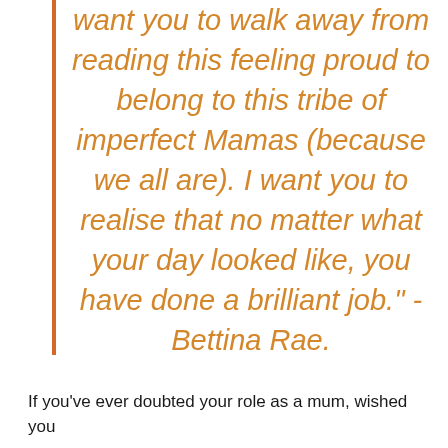want you to walk away from reading this feeling proud to belong to this tribe of imperfect Mamas (because we all are). I want you to realise that no matter what your day looked like, you have done a brilliant job." - Bettina Rae.
If you've ever doubted your role as a mum, wished you